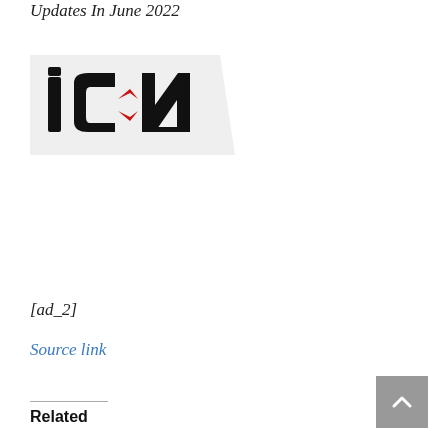Updates In June 2022
[Figure (logo): ICN logo — stylized letters 'icn' in bold black italic with a red arrow/chevron accent, on a light gray background with a diagonal white slash on the right]
[ad_2]
Source link
Related